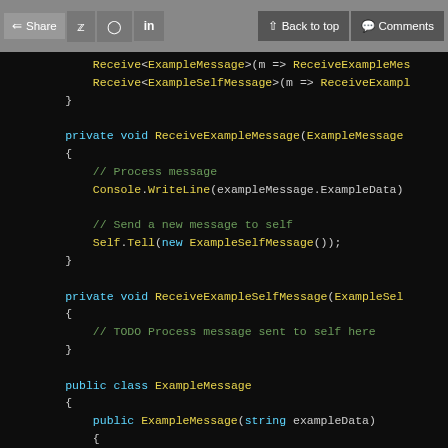Share  Back to top  Comments
[Figure (screenshot): C# code snippet showing actor message handling methods and ExampleMessage class in a dark-themed code editor]